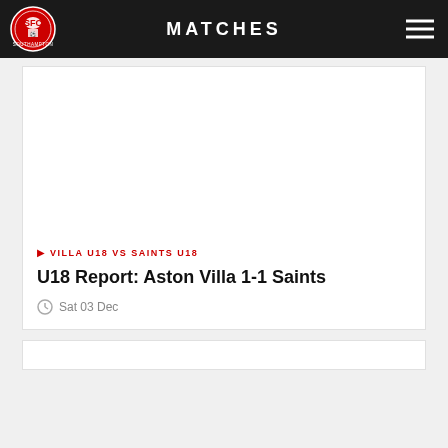MATCHES
[Figure (logo): Southampton FC badge/crest logo]
VILLA U18 VS SAINTS U18
U18 Report: Aston Villa 1-1 Saints
Sat 03 Dec